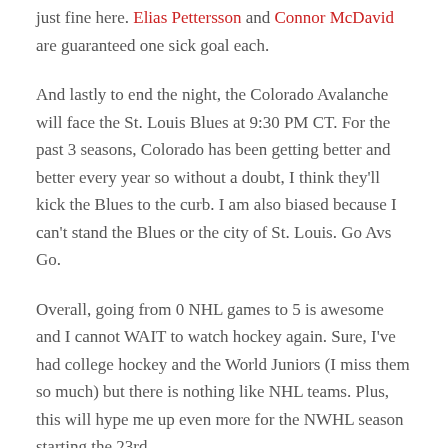just fine here. Elias Pettersson and Connor McDavid are guaranteed one sick goal each.
And lastly to end the night, the Colorado Avalanche will face the St. Louis Blues at 9:30 PM CT. For the past 3 seasons, Colorado has been getting better and better every year so without a doubt, I think they'll kick the Blues to the curb. I am also biased because I can't stand the Blues or the city of St. Louis. Go Avs Go.
Overall, going from 0 NHL games to 5 is awesome and I cannot WAIT to watch hockey again. Sure, I've had college hockey and the World Juniors (I miss them so much) but there is nothing like NHL teams. Plus, this will hype me up even more for the NWHL season starting the 23rd.